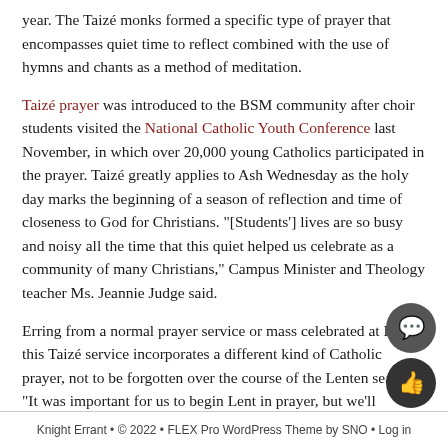year. The Taizé monks formed a specific type of prayer that encompasses quiet time to reflect combined with the use of hymns and chants as a method of meditation.
Taizé prayer was introduced to the BSM community after choir students visited the National Catholic Youth Conference last November, in which over 20,000 young Catholics participated in the prayer. Taizé greatly applies to Ash Wednesday as the holy day marks the beginning of a season of reflection and time of closeness to God for Christians. "[Students'] lives are so busy and noisy all the time that this quiet helped us celebrate as a community of many Christians," Campus Minister and Theology teacher Ms. Jeannie Judge said.
Erring from a normal prayer service or mass celebrated at BSM, this Taizé service incorporates a different kind of Catholic prayer, not to be forgotten over the course of the Lenten season. "It was important for us to begin Lent in prayer, but we'll continue to pray throughout and celebrate a legitimate mass in a few weeks," Ms. Judge said.
Knight Errant • © 2022 • FLEX Pro WordPress Theme by SNO • Log in